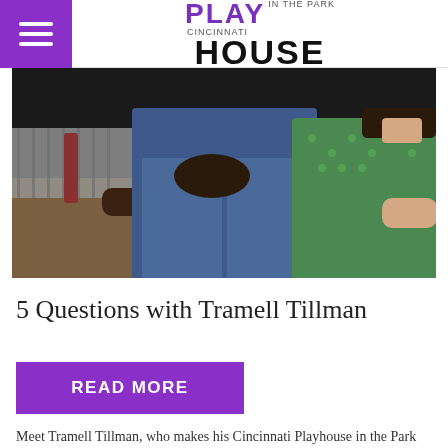Cincinnati Playhouse in the Park
[Figure (photo): Two people sitting on a floral couch. On the left, a man in a striped shirt and brown trousers; in the center, a person in jeans with legs crossed; on the right, a woman in a green polka-dot dress.]
5 Questions with Tramell Tillman
READ MORE
Meet Tramell Tillman, who makes his Cincinnati Playhouse in the Park debut in the world premiere of ALL THE ROADS